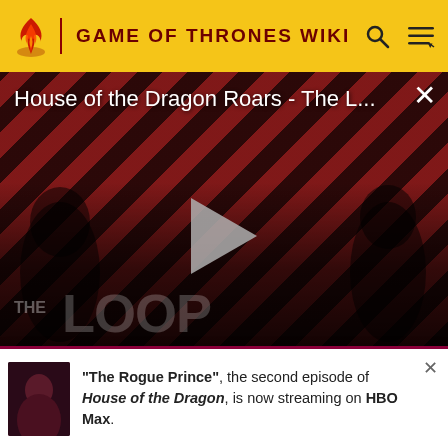GAME OF THRONES WIKI
[Figure (screenshot): Video player showing 'House of the Dragon Roars - The L...' with striped red/dark background, two characters silhouetted, play button in center, THE LOOP watermark, and NaN:NaN time indicator]
MORE
"The Rogue Prince", the second episode of House of the Dragon, is now streaming on HBO Max.